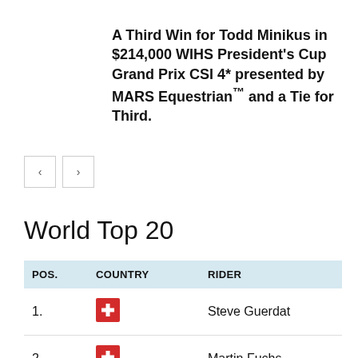A Third Win for Todd Minikus in $214,000 WIHS President's Cup Grand Prix CSI 4* presented by MARS Equestrian™ and a Tie for Third.
World Top 20
| POS. | COUNTRY | RIDER |
| --- | --- | --- |
| 1. | 🇨🇭 | Steve Guerdat |
| 2. | 🇨🇭 | Martin Fuchs |
| 3. | 🇩🇪 | Daniel Deusser |